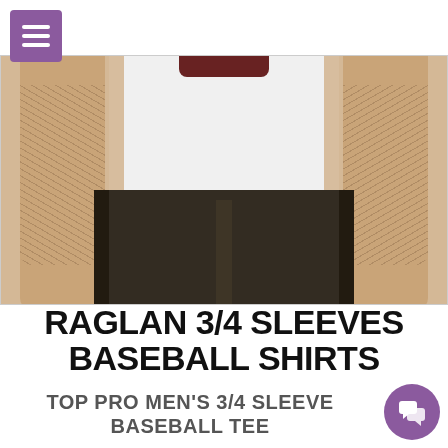Navigation menu (hamburger icon)
[Figure (photo): Cropped photo of a man wearing a white t-shirt and dark jeans, visible from chest to knees, with tattooed forearms visible. He is wearing a dark maroon/burgundy collar shirt underneath the white tee.]
RAGLAN 3/4 SLEEVES BASEBALL SHIRTS
TOP PRO MEN'S 3/4 SLEEVE BASEBALL TEE